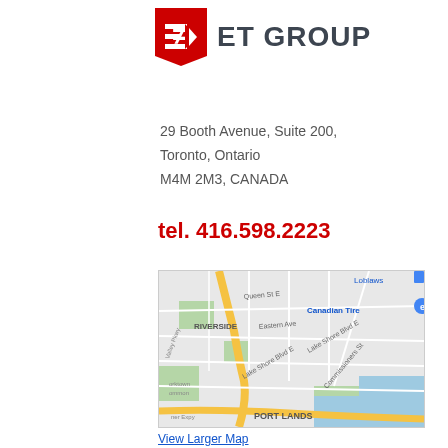[Figure (logo): ET Group logo: red shield/flag icon with white stylized E symbol, followed by bold dark grey text ET GROUP]
29 Booth Avenue, Suite 200,
Toronto, Ontario
M4M 2M3, CANADA
tel. 416.598.2223
[Figure (map): Google Maps screenshot showing the Riverside and Port Lands area of Toronto, Ontario. Streets visible include Queen St E, Eastern Ave, Lake Shore Blvd E, Commissioners St. Landmarks include Canadian Tire, Loblaws, Yorktown Common. The Don Valley Pkwy and Gardiner Expy are also visible.]
View Larger Map